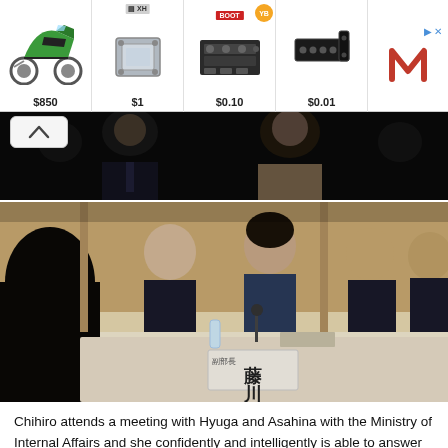[Figure (other): Advertisement banner with four product ads: green motorcycle ($850), metal bracket ($1), camera/machinery parts ($0.10), metal bracket ($0.01), and a red M logo on the right with close arrow]
[Figure (photo): Dark scene showing two people close together, a man in a suit and a woman, close-up shot from a TV drama]
[Figure (photo): Meeting room scene from Japanese TV drama: a young woman in a suit sits at a conference table between older men in suits. A name placard reading '藤川' is visible on the table.]
Chihiro attends a meeting with Hyuga and Asahina with the Ministry of Internal Affairs and she confidently and intelligently is able to answer all the questions about why the personal file system will improve civil infrastructure and be good for the people. The Vice Minister appears to notice